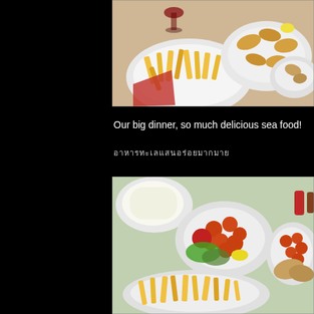[Figure (photo): Top photo showing plates of seafood dinner with french fries, fried calamari/seafood, and a glass of red wine on a restaurant table]
Our big dinner, so much delicious sea food!
อาหารทะเลแสนอร่อยมากมาย
[Figure (photo): Bottom photo showing more plates of seafood dinner with french fries, sweet and sour dishes, salad, and various seafood on a restaurant table]